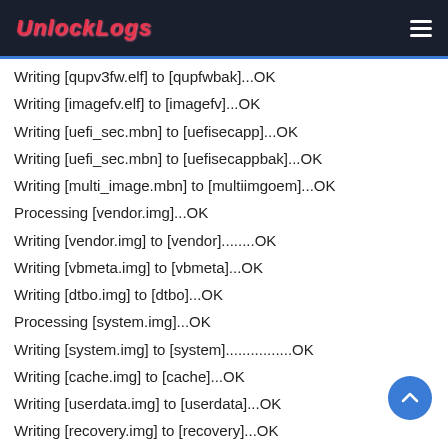UnlockLogs
Writing [qupv3fw.elf] to [qupfwbak]...OK
Writing [imagefv.elf] to [imagefv]...OK
Writing [uefi_sec.mbn] to [uefisecapp]...OK
Writing [uefi_sec.mbn] to [uefisecappbak]...OK
Writing [multi_image.mbn] to [multiimgoem]...OK
Processing [vendor.img]...OK
Writing [vendor.img] to [vendor]........OK
Writing [vbmeta.img] to [vbmeta]...OK
Writing [dtbo.img] to [dtbo]...OK
Processing [system.img]...OK
Writing [system.img] to [system]................OK
Writing [cache.img] to [cache]...OK
Writing [userdata.img] to [userdata]...OK
Writing [recovery.img] to [recovery]...OK
Erasing [secdata]...OK
Writing [cust.img] to [cust]...OK